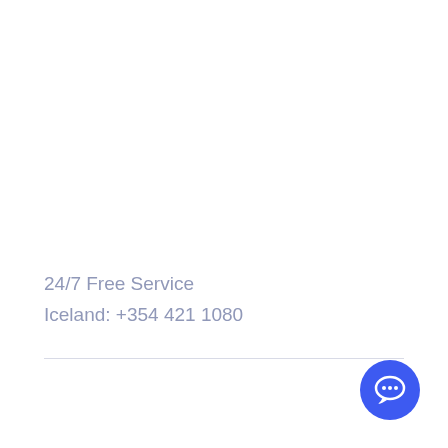24/7 Free Service
Iceland:  +354 421 1080
[Figure (illustration): Blue circular chat/speech bubble button icon in the bottom right corner]